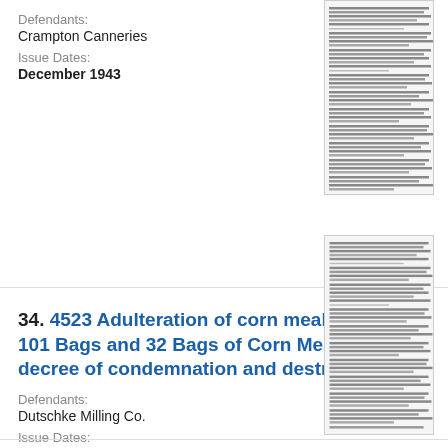Defendants:
Crampton Canneries
Issue Dates:
December 1943
[Figure (other): Thumbnail image of a document page with dense text lines]
34. 4523 Adulteration of corn meal. U. S. v. 101 Bags and 32 Bags of Corn Meal. Default decree of condemnation and destruction.
Defendants:
Dutschke Milling Co.
Issue Dates:
January 1944
[Figure (other): Thumbnail image of a document page with dense text lines]